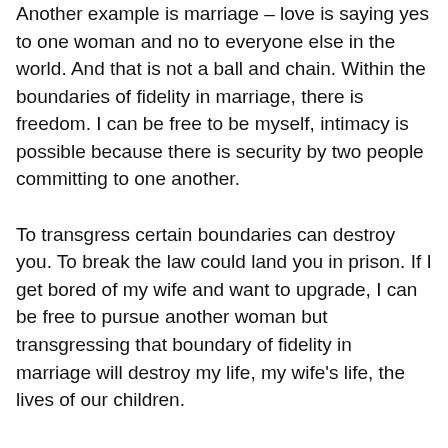Another example is marriage – love is saying yes to one woman and no to everyone else in the world. And that is not a ball and chain. Within the boundaries of fidelity in marriage, there is freedom. I can be free to be myself, intimacy is possible because there is security by two people committing to one another.
To transgress certain boundaries can destroy you. To break the law could land you in prison. If I get bored of my wife and want to upgrade, I can be free to pursue another woman but transgressing that boundary of fidelity in marriage will destroy my life, my wife's life, the lives of our children.